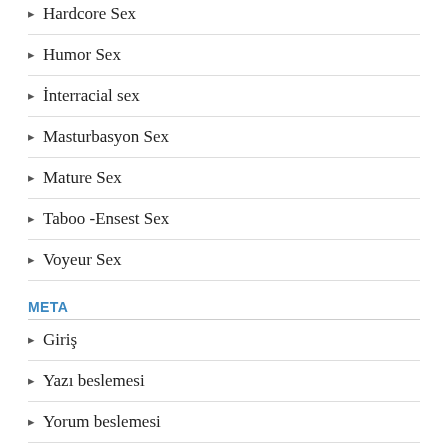Hardcore Sex
Humor Sex
İnterracial sex
Masturbasyon Sex
Mature Sex
Taboo -Ensest Sex
Voyeur Sex
META
Giriş
Yazı beslemesi
Yorum beslemesi
WordPress.org